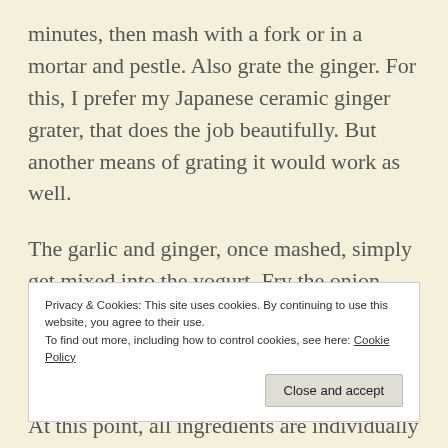minutes, then mash with a fork or in a mortar and pestle. Also grate the ginger. For this, I prefer my Japanese ceramic ginger grater, that does the job beautifully. But another means of grating it would work as well.
The garlic and ginger, once mashed, simply get mixed into the yogurt. Fry the onion slices in another tablespoon of oil until
Privacy & Cookies: This site uses cookies. By continuing to use this website, you agree to their use.
To find out more, including how to control cookies, see here: Cookie Policy
At this point, all ingredients are individually